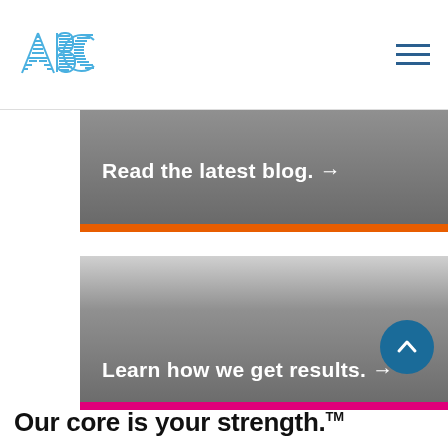[Figure (logo): ABC logo with blue hatched letters in top-left of header]
[Figure (infographic): Hamburger menu icon (three horizontal blue lines) in top-right of header]
Read the latest blog. →
[Figure (illustration): Gray gradient banner for results section]
Learn how we get results. →
Our core is your strength.™